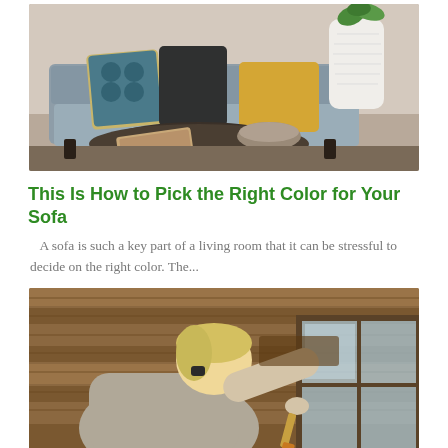[Figure (photo): A modern living room with a grey sofa, colorful decorative pillows (teal/yellow geometric pattern and a solid dark pillow), a yellow cushion, a round dark coffee table with a magazine and a geometric bowl, and a white textured vase with a green plant.]
This Is How to Pick the Right Color for Your Sofa
A sofa is such a key part of a living room that it can be stressful to decide on the right color. The...
[Figure (photo): A person with blonde hair wearing a grey t-shirt, crouching and using a paintbrush to stain or paint wooden exterior siding or decking. The wood has a warm brown tone and there is a window visible in the background.]